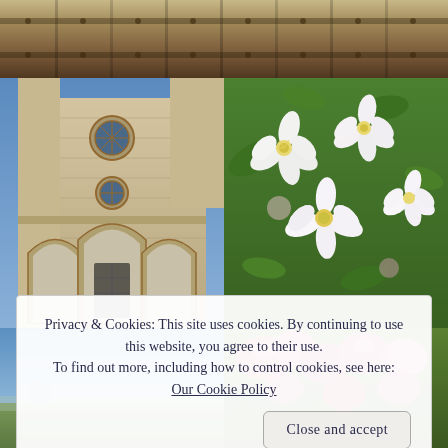[Figure (photo): Close-up of a wooden door or gate, brown tones, top strip]
[Figure (photo): Facade of a medieval stone church with rounded arches, rose windows, and Gothic doorways]
[Figure (photo): Close-up of white and pink blossoming flowers with green leaves]
[Figure (photo): Blue sky with some landscape, partially obscured by cookie banner]
[Figure (photo): Pink flowers in bloom, partially obscured by cookie banner]
Privacy & Cookies: This site uses cookies. By continuing to use this website, you agree to their use.
To find out more, including how to control cookies, see here:
Our Cookie Policy
Close and accept